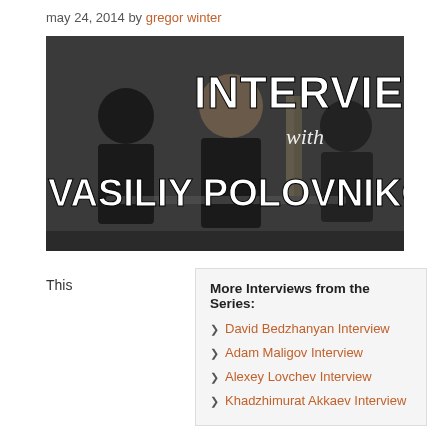may 24, 2014 by gregor winter
[Figure (photo): Interview thumbnail image featuring people in a gym. Large text overlay reads 'INTERVIEW with VASILIY POLOVNIKOV']
This
More Interviews from the Series:
David Bedzhanyan Interview
Adam Maligov Interview
Alexey Lovchev Interview
Khadzhimurat Akkaev Interview